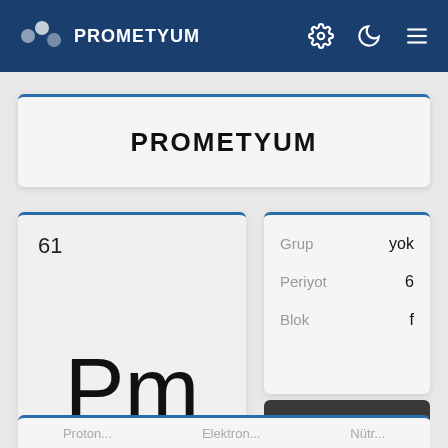PROMETYUM
PROMETYUM
61
Pm
| Property | Value |
| --- | --- |
| Grup | yok |
| Periyot | 6 |
| Blok | f |
Ready to use Offline